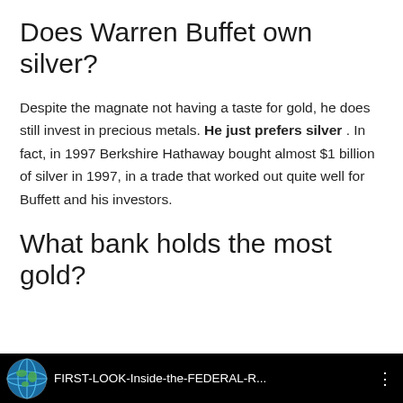Does Warren Buffet own silver?
Despite the magnate not having a taste for gold, he does still invest in precious metals. He just prefers silver . In fact, in 1997 Berkshire Hathaway bought almost $1 billion of silver in 1997, in a trade that worked out quite well for Buffett and his investors.
What bank holds the most gold?
[Figure (screenshot): Video thumbnail with black background showing a globe icon on the left and the text 'FIRST-LOOK-Inside-the-FEDERAL-R...' in white, with a vertical dots menu icon on the right.]